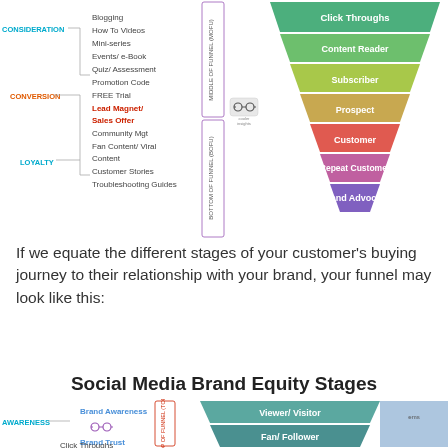[Figure (infographic): Content marketing funnel diagram showing MIDDLE OF FUNNEL (MOFU) and BOTTOM OF FUNNEL (BOFU) stages. Left side labels: CONSIDERATION (Blogging, How To Videos, Mini-series), CONVERSION (Events/e-Book, Quiz/Assessment, Promotion Code, FREE Trial, Lead Magnet/Sales Offer), LOYALTY (Community Mgt, Fan Content/Viral Content, Customer Stories, Troubleshooting Guides). Right side funnel: Click Throughs (green), Content Reader (green), Subscriber (yellow-green), Prospect (tan/beige), Customer (red-orange), Repeat Customer (purple-red), Brand Advocate (purple).]
If we equate the different stages of your customer's buying journey to their relationship with your brand, your funnel may look like this:
Social Media Brand Equity Stages
[Figure (infographic): Bottom portion of Social Media Brand Equity Stages infographic showing AWARENESS stage with Brand Awareness and Brand Trust labels, TOP OF FUNNEL (TOFU) bracket, and funnel segments: Viewer/Visitor (teal), Fan/Follower (teal), Click Throughs (partially visible).]